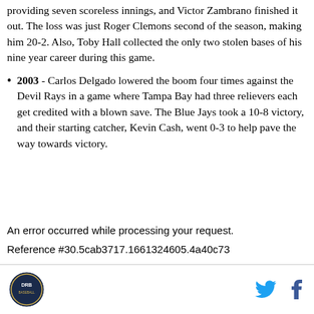providing seven scoreless innings, and Victor Zambrano finished it out. The loss was just Roger Clemons second of the season, making him 20-2. Also, Toby Hall collected the only two stolen bases of his nine year career during this game.
2003 - Carlos Delgado lowered the boom four times against the Devil Rays in a game where Tampa Bay had three relievers each get credited with a blown save. The Blue Jays took a 10-8 victory, and their starting catcher, Kevin Cash, went 0-3 to help pave the way towards victory.
An error occurred while processing your request.
Reference #30.5cab3717.1661324605.4a40c73
DRB logo, Twitter icon, Facebook icon